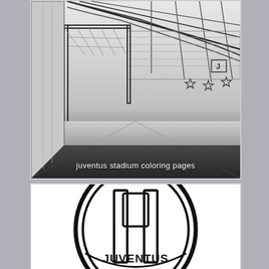[Figure (illustration): Line art coloring page illustration of Juventus stadium interior showing goal post, pitch, and stadium seating/roof structure with stars on wall. Gradient overlay at bottom.]
juventus stadium coloring pages
[Figure (illustration): Line art coloring page illustration of Juventus FC badge/logo showing a semicircular shield with vertical stripes and 'JUVENTUS' text at the bottom.]